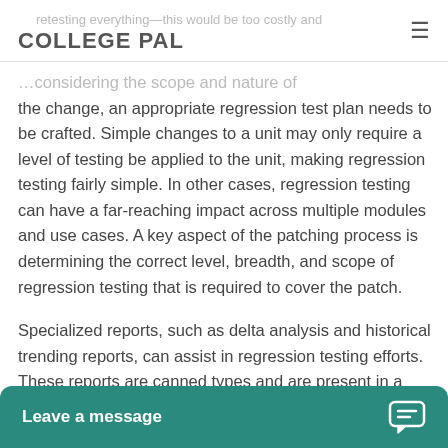COLLEGE PAL
retesting everything—this would be too costly and … considering the scope and nature of the change, an appropriate regression test plan needs to be crafted. Simple changes to a unit may only require a level of testing be applied to the unit, making regression testing fairly simple. In other cases, regression testing can have a far-reaching impact across multiple modules and use cases. A key aspect of the patching process is determining the correct level, breadth, and scope of regression testing that is required to cover the patch.
Specialized reports, such as delta analysis and historical trending reports, can assist in regression testing efforts. These reports are canned types and are present in a varie… of … tools. When leveragin…